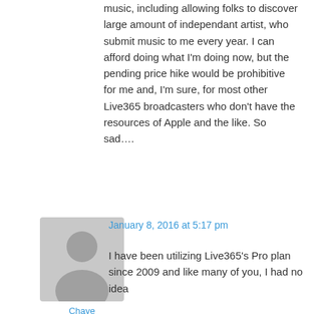music, including allowing folks to discover large amount of independant artist, who submit music to me every year. I can afford doing what I'm doing now, but the pending price hike would be prohibitive for me and, I'm sure, for most other Live365 broadcasters who don't have the resources of Apple and the like. So sad….
[Figure (illustration): Gray placeholder avatar icon showing silhouette of a person]
Chaye
January 8, 2016 at 5:17 pm
I have been utilizing Live365's Pro plan since 2009 and like many of you, I had no idea